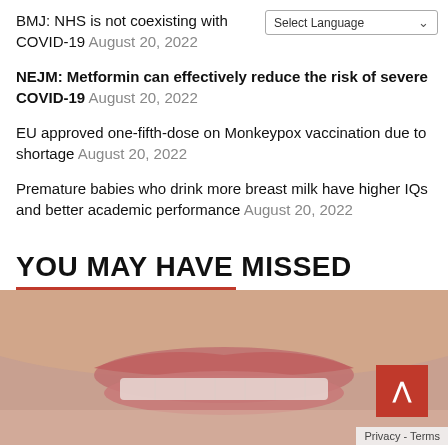BMJ: NHS is not coexisting with COVID-19 August 20, 2022
NEJM: Metformin can effectively reduce the risk of severe COVID-19 August 20, 2022
EU approved one-fifth-dose on Monkeypox vaccination due to shortage August 20, 2022
Premature babies who drink more breast milk have higher IQs and better academic performance August 20, 2022
YOU MAY HAVE MISSED
[Figure (photo): Close-up photo of a person's mouth showing lips and teeth]